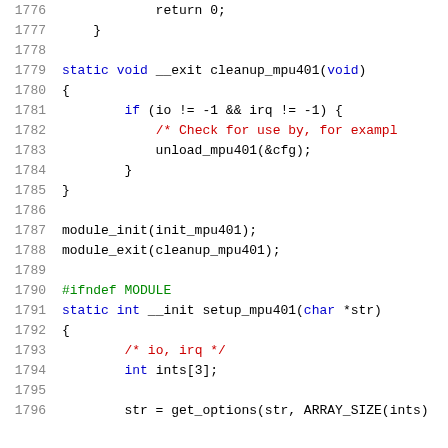Source code listing lines 1776-1796, C kernel module code for mpu401 driver cleanup and setup functions.